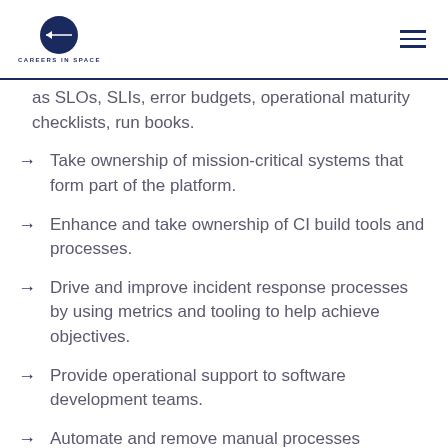CAREERSINSPACE
as SLOs, SLIs, error budgets, operational maturity checklists, run books.
Take ownership of mission-critical systems that form part of the platform.
Enhance and take ownership of CI build tools and processes.
Drive and improve incident response processes by using metrics and tooling to help achieve objectives.
Provide operational support to software development teams.
Automate and remove manual processes wherever possible.